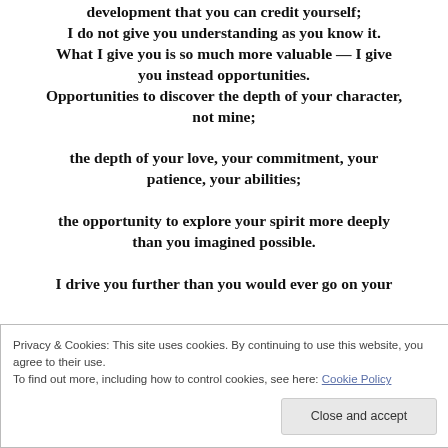development that you can credit yourself; I do not give you understanding as you know it. What I give you is so much more valuable — I give you instead opportunities. Opportunities to discover the depth of your character, not mine; the depth of your love, your commitment, your patience, your abilities; the opportunity to explore your spirit more deeply than you imagined possible. I drive you further than you would ever go on your
Privacy & Cookies: This site uses cookies. By continuing to use this website, you agree to their use. To find out more, including how to control cookies, see here: Cookie Policy